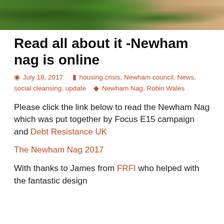[Figure (photo): Photograph strip showing green foliage/plants and a brown wooden surface or box in the background]
Read all about it -Newham nag is online
July 18, 2017   housing crisis, Newham council, News, social cleansing, update   Newham Nag, Robin Wales
Please click the link below to read the Newham Nag which was put together by Focus E15 campaign and Debt Resistance UK
The Newham Nag 2017
With thanks to James from FRFI who helped with the fantastic design